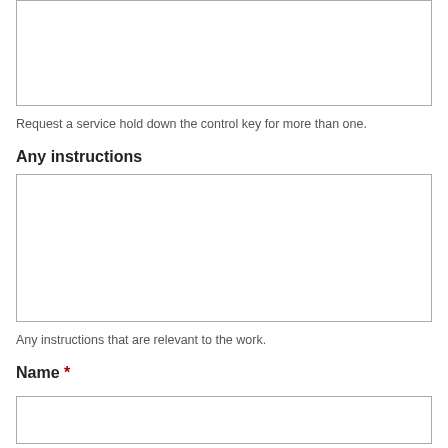Request a service hold down the control key for more than one.
Any instructions
Any instructions that are relevant to the work.
Name *